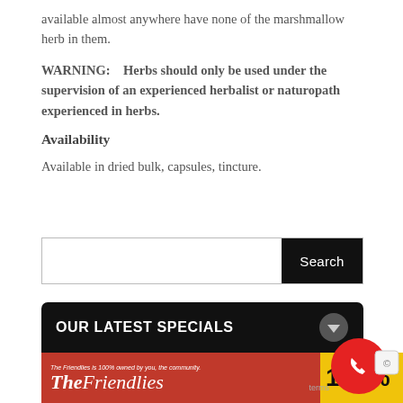available almost anywhere have none of the marshmallow herb in them.
WARNING:   Herbs should only be used under the supervision of an experienced herbalist or naturopath experienced in herbs.
Availability
Available in dried bulk, capsules, tincture.
[Figure (screenshot): Search bar with text input field and black Search button]
[Figure (infographic): Black banner reading OUR LATEST SPECIALS with a download arrow icon]
[Figure (infographic): The Friendlies promotional banner with red background and yellow 110% section, with a red phone call button overlay]